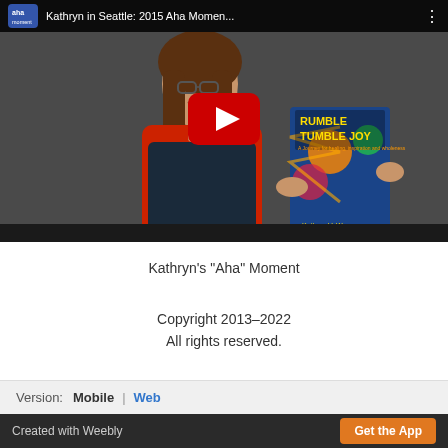[Figure (screenshot): YouTube video thumbnail showing a woman with glasses and long brown hair, wearing a red top and dark overalls, holding a colorful book titled 'RUMBLE TUMBLE JOY'. There is a YouTube play button overlay in the center. The top bar shows an 'aha moment' logo and the video title 'Kathryn in Seattle: 2015 Aha Momen...']
Kathryn's "Aha" Moment
Copyright 2013–2022
All rights reserved.
Version: Mobile | Web
Created with Weebly    Get the App